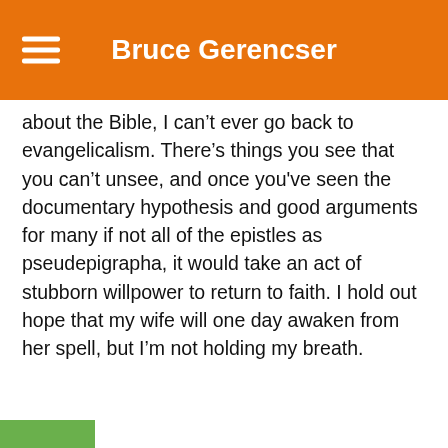Bruce Gerencser
about the Bible, I can't ever go back to evangelicalism. There's things you see that you can't unsee, and once you've seen the documentary hypothesis and good arguments for many if not all of the epistles as pseudepigrapha, it would take an act of stubborn willpower to return to faith. I hold out hope that my wife will one day awaken from her spell, but I'm not holding my breath.